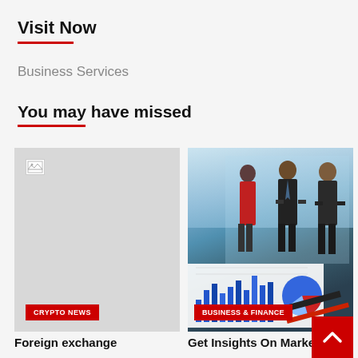Visit Now
Business Services
You may have missed
[Figure (photo): Broken/missing image placeholder (left card) with CRYPTO NEWS badge]
[Figure (photo): Business people standing and discussing in office with financial charts on desk in foreground, BUSINESS & FINANCE badge]
Foreign exchange
Get Insights On Market